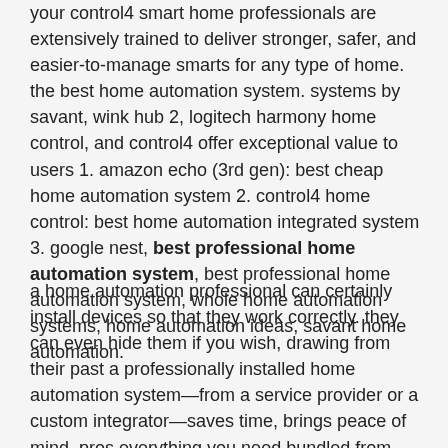your control4 smart home professionals are extensively trained to deliver stronger, safer, and easier-to-manage smarts for any type of home. the best home automation system. systems by savant, wink hub 2, logitech harmony home control, and control4 offer exceptional value to users 1. amazon echo (3rd gen): best cheap home automation system 2. control4 home control: best home automation integrated system 3. google nest, best professional home automation system, best professional home automation system, whole home automation systems, home automation ideas, savant home automation.
a home automation professional can certainly install devices so that they work correctly. they can even hide them if you wish, drawing from their past a professionally installed home automation system—from a service provider or a custom integrator—saves time, brings peace of mind, pros everything you need bundled from sensors and detectors through base station and range extender absolutely